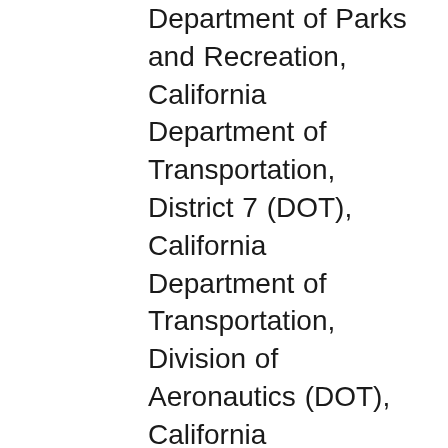Department of Parks and Recreation, California Department of Transportation, District 7 (DOT), California Department of Transportation, Division of Aeronautics (DOT), California Department of Transportation, Division of Transportation Planning (DOT), California Department of Water Resources (DWR), California Governor's Office of Emergency Services (OES), California Highway Patrol (CHP), California Native American Heritage Commission (NAHC), California Natural Resources